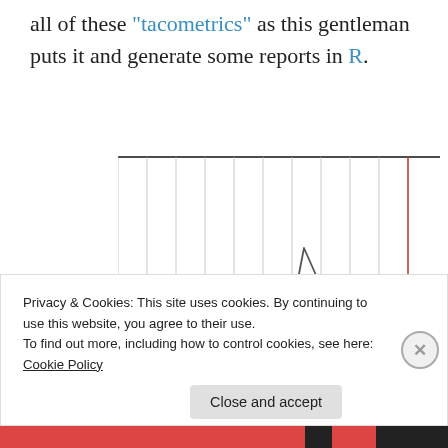all of these "tacometrics" as this gentleman puts it and generate some reports in R.
[Figure (other): A line chart or plot area showing a triangular/peaked line shape with vertical gridlines and a red vertical reference line on the right side. The chart has a white background with light gray vertical grid lines and a black horizontal top border line.]
Privacy & Cookies: This site uses cookies. By continuing to use this website, you agree to their use.
To find out more, including how to control cookies, see here: Cookie Policy